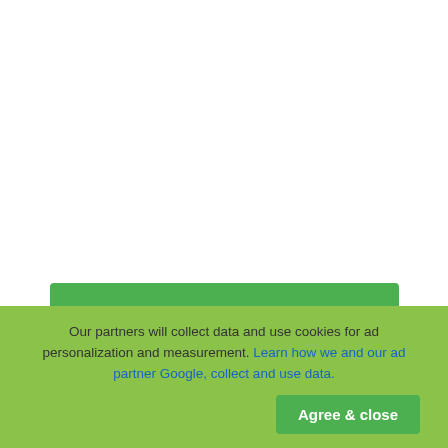[Figure (screenshot): Download PDF green button with document icon]
[Figure (screenshot): Social media share icons: Facebook (blue), Twitter (light blue), LinkedIn (dark blue)]
0 downloads   0 Views   966KB Size   Report
[Figure (screenshot): Comment button (teal/blue rounded rectangle with speech bubble icon)]
Our partners will collect data and use cookies for ad personalization and measurement. Learn how we and our ad partner Google, collect and use data.
Agree & close